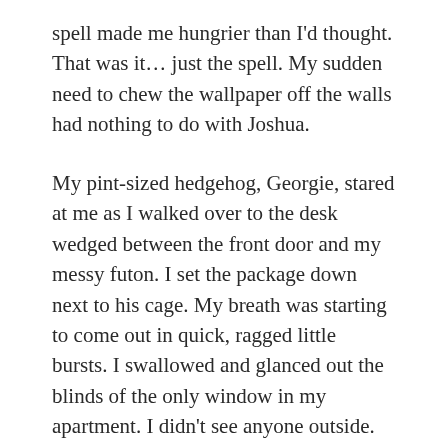spell made me hungrier than I'd thought. That was it… just the spell. My sudden need to chew the wallpaper off the walls had nothing to do with Joshua.
My pint-sized hedgehog, Georgie, stared at me as I walked over to the desk wedged between the front door and my messy futon. I set the package down next to his cage. My breath was starting to come out in quick, ragged little bursts. I swallowed and glanced out the blinds of the only window in my apartment. I didn't see anyone outside. Yet.
Georgie yawned and ignored me as I turned back to the package, raising it on my...